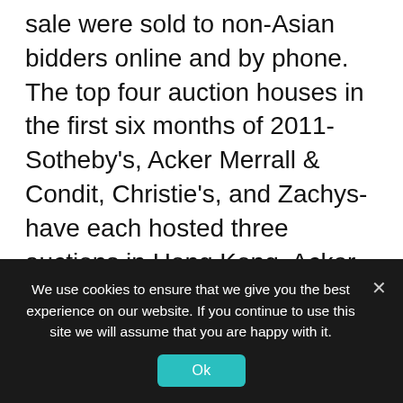sale were sold to non-Asian bidders online and by phone. The top four auction houses in the first six months of 2011-Sotheby's, Acker Merrall & Condit, Christie's, and Zachys-have each hosted three auctions in Hong Kong. Acker is still most heavily weighted toward Hong Kong, generating over two thirds of its wine-auction revenues in the Asian capital, as in 2010. Sotheby's Hong Kong sale proportion is 60 percent, while Christie's and Zachys rely on Hong Kong auctions for 55 and 56 percent of sales respectively.
We use cookies to ensure that we give you the best experience on our website. If you continue to use this site we will assume that you are happy with it.
Ok